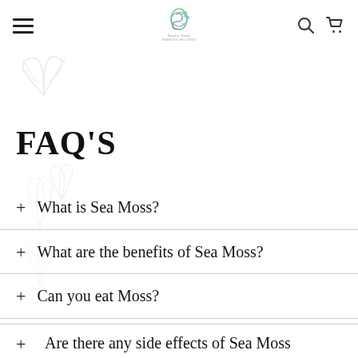Navigation bar with hamburger menu, Saucy Stirs logo, search and cart icons
FAQ'S
+ What is Sea Moss?
+ What are the benefits of Sea Moss?
+ Can you eat Moss?
+ Are there any side effects of Sea Moss